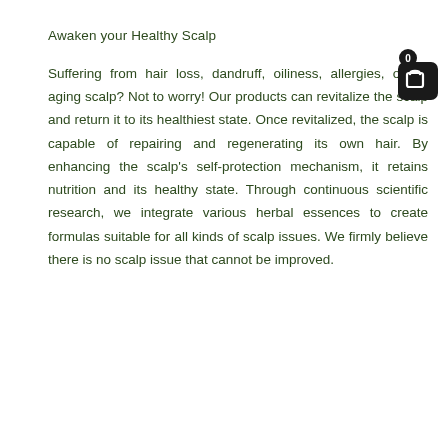Awaken your Healthy Scalp
Suffering from hair loss, dandruff, oiliness, allergies, or an aging scalp? Not to worry! Our products can revitalize the scalp and return it to its healthiest state. Once revitalized, the scalp is capable of repairing and regenerating its own hair. By enhancing the scalp's self-protection mechanism, it retains nutrition and its healthy state. Through continuous scientific research, we integrate various herbal essences to create formulas suitable for all kinds of scalp issues. We firmly believe there is no scalp issue that cannot be improved.
[Figure (illustration): Shopping cart icon with badge showing 0, dark rounded square background, top right corner]